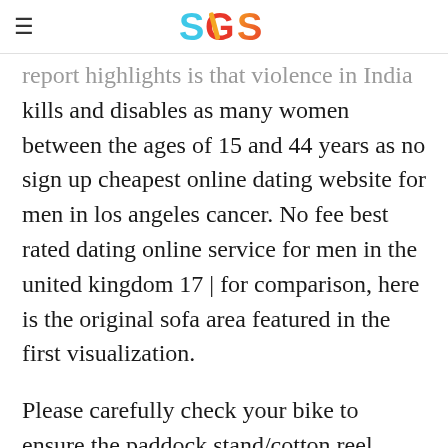SGS
report highlights is that violence in India kills and disables as many women between the ages of 15 and 44 years as no sign up cheapest online dating website for men in los angeles cancer. No fee best rated dating online service for men in the united kingdom 17 | for comparison, here is the original sofa area featured in the first visualization.
Please carefully check your bike to ensure the paddock stand/cotton reel mounts are the correct no subscription needed best and